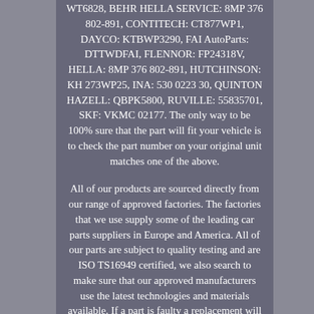WT6828, BEHR HELLA SERVICE: 8MP 376 802-891, CONTITECH: CT877WP1, DAYCO: KTBWP3290, FAI AutoParts: DTTWDFAI, FLENNOR: FP24318V, HELLA: 8MP 376 802-891, HUTCHINSON: KH 273WP25, INA: 530 0223 30, QUINTON HAZELL: QBPK5800, RUVILLE: 55835701, SKF: VKMC 02177. The only way to be 100% sure that the part will fit your vehicle is to check the part number on your original unit matches one of the above.
All of our products are sourced directly from our range of approved factories. The factories that we use supply some of the leading car parts suppliers in Europe and America. All of our parts are subject to quality testing and are ISO TS16949 certified, we also search to make sure that our approved manufacturers use the latest technologies and materials available. If a part is faulty a replacement will be sent out after the return and testing of the old unit. Labour claims & consequential loss claims are never accepted.